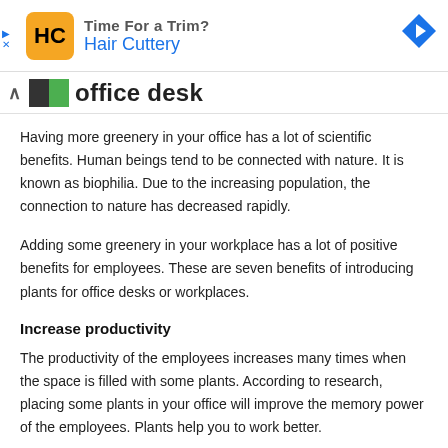[Figure (screenshot): Advertisement banner for Hair Cuttery with logo, brand name in blue, and a blue diamond arrow icon on the right. Close/X buttons on the left.]
office desk
Having more greenery in your office has a lot of scientific benefits. Human beings tend to be connected with nature. It is known as biophilia. Due to the increasing population, the connection to nature has decreased rapidly.
Adding some greenery in your workplace has a lot of positive benefits for employees. These are seven benefits of introducing plants for office desks or workplaces.
Increase productivity
The productivity of the employees increases many times when the space is filled with some plants. According to research, placing some plants in your office will improve the memory power of the employees. Plants help you to work better.